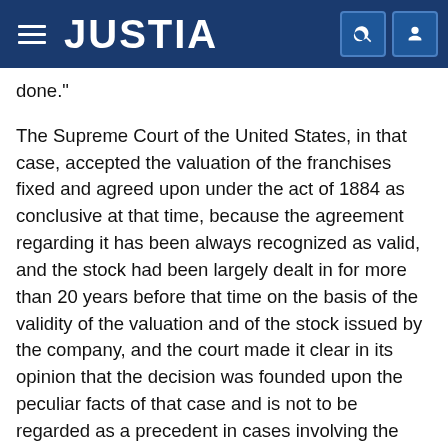JUSTIA
done."
The Supreme Court of the United States, in that case, accepted the valuation of the franchises fixed and agreed upon under the act of 1884 as conclusive at that time, because the agreement regarding it has been always recognized as valid, and the stock had been largely dealt in for more than 20 years before that time on the basis of the validity of the valuation and of the stock issued by the company, and the court made it clear in its opinion that the decision was founded upon the peculiar facts of that case and is not to be regarded as a precedent in cases involving the valuation of franchises generally.
That the decision of the Supreme Court in that case was limited to the peculiar facts therein shown, and not